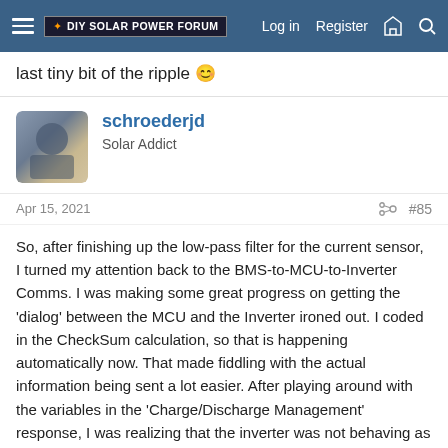DIY Solar Power Forum | Log in | Register
last tiny bit of the ripple 😊
schroederjd
Solar Addict
Apr 15, 2021  #85
So, after finishing up the low-pass filter for the current sensor, I turned my attention back to the BMS-to-MCU-to-Inverter Comms. I was making some great progress on getting the 'dialog' between the MCU and the Inverter ironed out. I coded in the CheckSum calculation, so that is happening automatically now. That made fiddling with the actual information being sent a lot easier. After playing around with the variables in the 'Charge/Discharge Management' response, I was realizing that the inverter was not behaving as I was expecting. Most notably, when I sent the 'disable' command for charging or discharging, the inverter didn't seem to do anything different. And that's where I hit my latest roadblock...